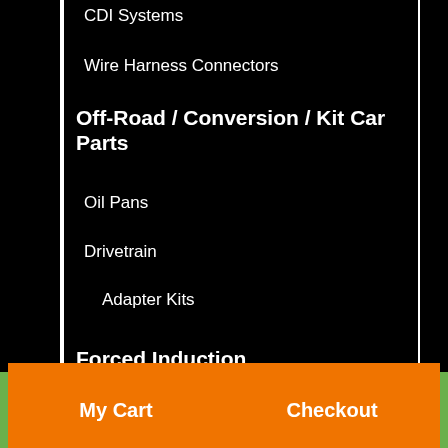CDI Systems
Wire Harness Connectors
Off-Road / Conversion / Kit Car Parts
Oil Pans
Drivetrain
Adapter Kits
Forced Induction
Wastegates
V-Band
My Cart    Checkout